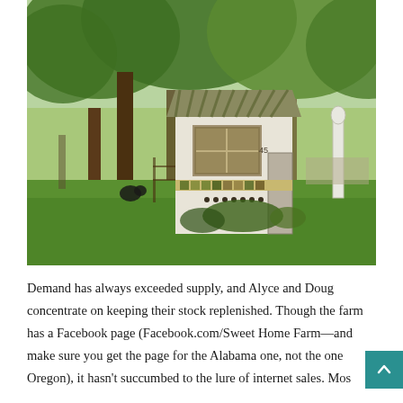[Figure (photo): Outdoor photo of a small decorated chicken coop or garden shed with a green metal roof, a window, colorful tile decorations, and small ornamental balls along the base. Large trees with leafy canopy in background, a white fence post on the right, and green grass in the foreground.]
Demand has always exceeded supply, and Alyce and Doug concentrate on keeping their stock replenished. Though the farm has a Facebook page (Facebook.com/Sweet Home Farm—and make sure you get the page for the Alabama one, not the one Oregon), it hasn't succumbed to the lure of internet sales. Mos